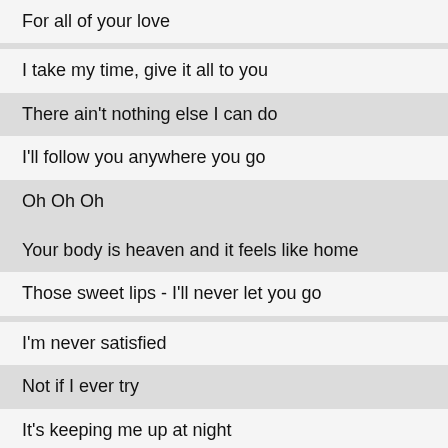For all of your love
I take my time, give it all to you
There ain't nothing else I can do
I'll follow you anywhere you go
Oh Oh Oh
Your body is heaven and it feels like home
Those sweet lips - I'll never let you go
I'm never satisfied
Not if I ever try
It's keeping me up at night
I'm going crazy